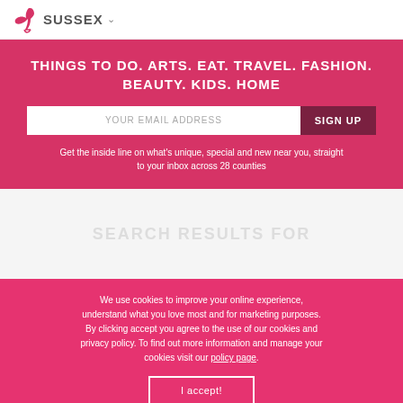SUSSEX
THINGS TO DO. ARTS. EAT. TRAVEL. FASHION. BEAUTY. KIDS. HOME
YOUR EMAIL ADDRESS
SIGN UP
Get the inside line on what's unique, special and new near you, straight to your inbox across 28 counties
Search results for
We use cookies to improve your online experience, understand what you love most and for marketing purposes. By clicking accept you agree to the use of our cookies and privacy policy. To find out more information and manage your cookies visit our policy page.
I accept!